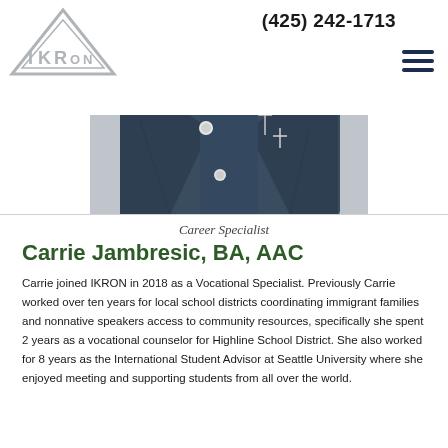[Figure (logo): IKRON logo: triangle outline with letters IKRON inside, gray color]
(425) 242-1713
[Figure (photo): Close-up photo of a person wearing a denim jacket with a cross necklace]
Career Specialist
Carrie Jambresic, BA, AAC
Carrie joined IKRON in 2018 as a Vocational Specialist. Previously Carrie worked over ten years for local school districts coordinating immigrant families and nonnative speakers access to community resources, specifically she spent 2 years as a vocational counselor for Highline School District. She also worked for 8 years as the International Student Advisor at Seattle University where she enjoyed meeting and supporting students from all over the world.